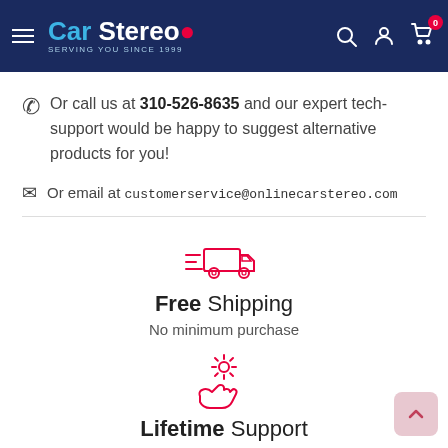Car Stereo — Serving You Since 1999
Or call us at 310-526-8635 and our expert tech-support would be happy to suggest alternative products for you!
Or email at customerservice@onlinecarstereo.com
[Figure (illustration): Pink outline icon of a delivery truck with speed lines]
Free Shipping
No minimum purchase
[Figure (illustration): Pink outline icon of a hand holding a gear/cog (tech support symbol)]
Lifetime Support